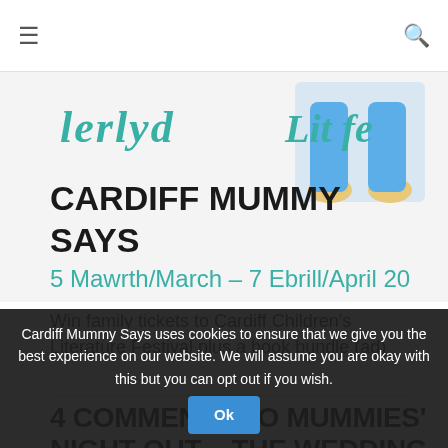≡   [search icon]
[Figure (illustration): Cardiff Children's Literature Festival banner with handwritten-style teal text 'Cardiff Lit Fe' and the date '5 Mawrth/March - 7 Ebrill/April 20', with a cartoon illustration of a child's legs in blue jeans overhead]
CARDIFF MUMMY SAYS
Win family tickets to Cardiff Children's Literature Festival plus a book bundle (ad)
4 COMMENTS TO MUMMIES' NIGHT OUT – THE WEDDING SINGER, NEW THEATRE
Cardiff Mummy Says uses cookies to ensure that we give you the best experience on our website. We will assume you are okay with this but you can opt out if you wish.
Ok